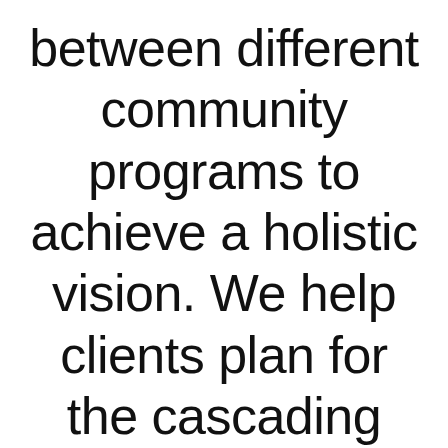between different community programs to achieve a holistic vision. We help clients plan for the cascading impacts